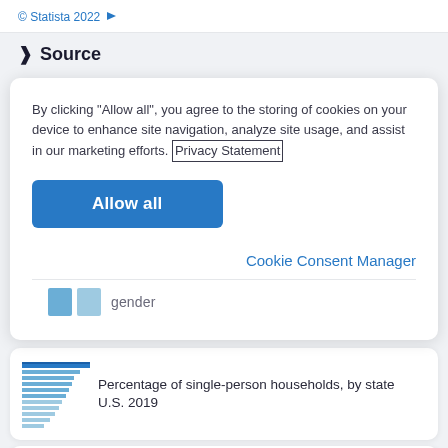© Statista 2022
> Source
By clicking "Allow all", you agree to the storing of cookies on your device to enhance site navigation, analyze site usage, and assist in our marketing efforts. Privacy Statement
Allow all
Cookie Consent Manager
gender
[Figure (bar-chart): Horizontal bar chart thumbnail showing percentage of single-person households by state U.S. 2019]
Percentage of single-person households, by state U.S. 2019